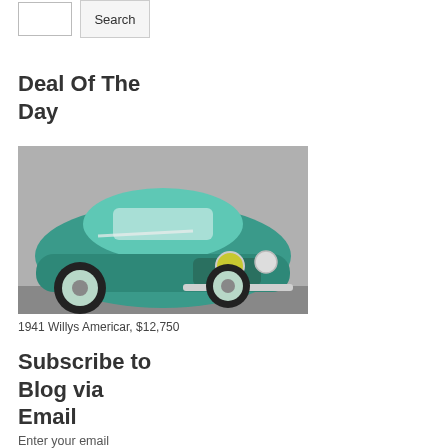[Figure (other): Search input box and Search button]
Deal Of The Day
[Figure (photo): 1941 Willys Americar — a teal/green vintage two-door sedan photographed at a slight angle showing front and driver's side, with round headlights and chrome bumper, against a gray background]
1941 Willys Americar, $12,750
Subscribe to Blog via Email
Enter your email